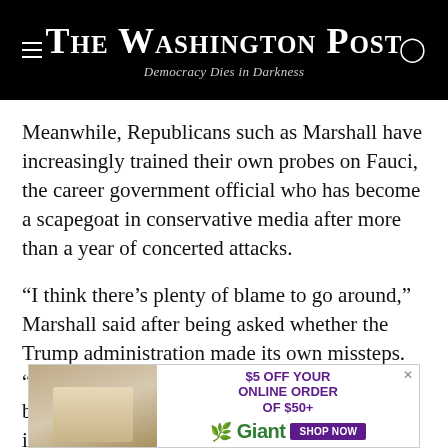The Washington Post — Democracy Dies in Darkness
Meanwhile, Republicans such as Marshall have increasingly trained their own probes on Fauci, the career government official who has become a scapegoat in conservative media after more than a year of concerted attacks.
“I think there’s plenty of blame to go around,” Marshall said after being asked whether the Trump administration made its own missteps. “It just seems, though, that Dr. Fauci was the bottleneck that stopped all the significant information from getting to the top
[Figure (other): Giant grocery advertisement: $5 OFF YOUR ONLINE ORDER OF $50+ with Giant logo and SHOP NOW button]